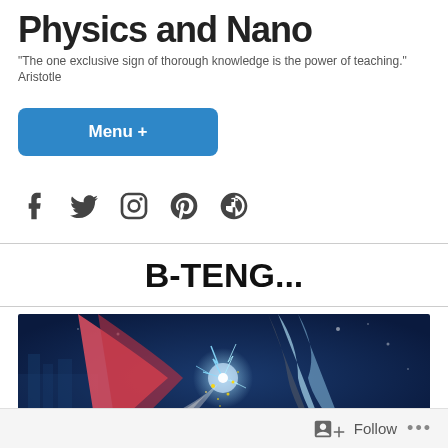Physics and Nano
"The one exclusive sign of thorough knowledge is the power of teaching."
Aristotle
Menu +
[Figure (infographic): Social media icons: Facebook, Twitter, Instagram, Pinterest, WordPress]
B-TENG...
[Figure (photo): Artistic scientific illustration of energy harvesting or nanotechnology concept on dark blue background, showing flowing ribbons of red, white/grey, and blue with glowing electric discharge and golden sparkles in the center]
Follow ...